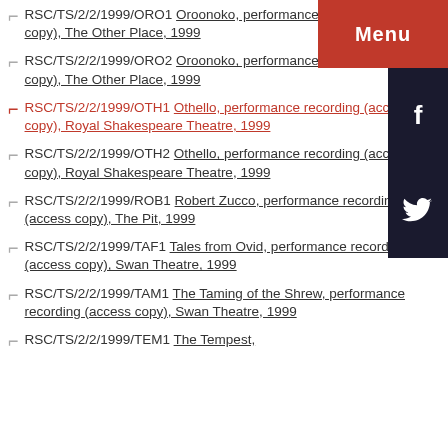RSC/TS/2/2/1999/ORO1 Oroonoko, performance recording (access copy), The Other Place, 1999
RSC/TS/2/2/1999/ORO2 Oroonoko, performance recording (access copy), The Other Place, 1999
RSC/TS/2/2/1999/OTH1 Othello, performance recording (access copy), Royal Shakespeare Theatre, 1999
RSC/TS/2/2/1999/OTH2 Othello, performance recording (access copy), Royal Shakespeare Theatre, 1999
RSC/TS/2/2/1999/ROB1 Robert Zucco, performance recording (access copy), The Pit, 1999
RSC/TS/2/2/1999/TAF1 Tales from Ovid, performance recording (access copy), Swan Theatre, 1999
RSC/TS/2/2/1999/TAM1 The Taming of the Shrew, performance recording (access copy), Swan Theatre, 1999
RSC/TS/2/2/1999/TEM1 The Tempest,